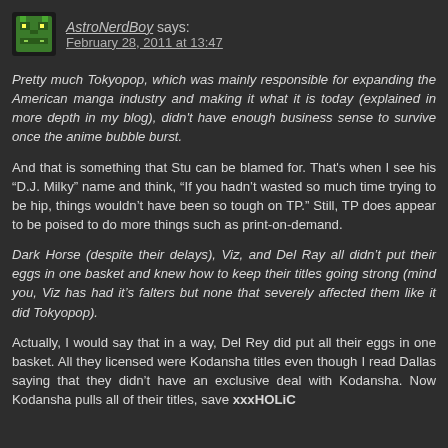[Figure (illustration): Pixel art avatar icon of a green alien/robot face on dark background]
AstroNerdBoy says:
February 28, 2011 at 13:47
Pretty much Tokyopop, which was mainly responsible for expanding the American manga industry and making it what it is today (explained in more depth in my blog), didn't have enough business sense to survive once the anime bubble burst.
And that is something that Stu can be blamed for. That's when I see his “D.J. Milky” name and think, “If you hadn’t wasted so much time trying to be hip, things wouldn’t have been so tough on TP.” Still, TP does appear to be poised to do more things such as print-on-demand.
Dark Horse (despite their delays), Viz, and Del Ray all didn’t put their eggs in one basket and knew how to keep their titles going strong (mind you, Viz has had it’s falters but none that severely affected them like it did Tokyopop).
Actually, I would say that in a way, Del Rey did put all their eggs in one basket. All they licensed were Kodansha titles even though I read Dallas saying that they didn’t have an exclusive deal with Kodansha. Now Kodansha pulls all of their titles, save xxxHOLiC